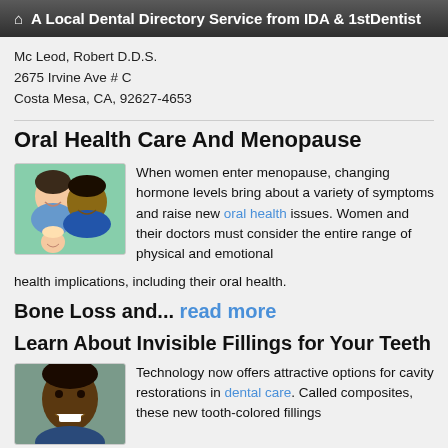A Local Dental Directory Service from IDA & 1stDentist
Mc Leod, Robert D.D.S.
2675 Irvine Ave # C
Costa Mesa, CA, 92627-4653
Oral Health Care And Menopause
[Figure (photo): Photo of a woman and man smiling with a baby]
When women enter menopause, changing hormone levels bring about a variety of symptoms and raise new oral health issues. Women and their doctors must consider the entire range of physical and emotional health implications, including their oral health.
Bone Loss and... read more
Learn About Invisible Fillings for Your Teeth
[Figure (photo): Photo of a man smiling showing teeth]
Technology now offers attractive options for cavity restorations in dental care. Called composites, these new tooth-colored fillings